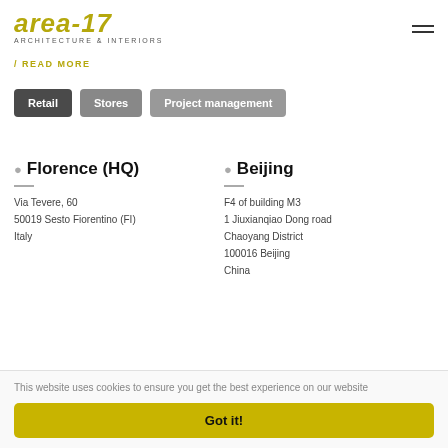area-17 ARCHITECTURE & INTERIORS
READ MORE
Retail
Stores
Project management
Florence (HQ)
Via Tevere, 60
50019 Sesto Fiorentino (FI)
Italy
Beijing
F4 of building M3
1 Jiuxianqiao Dong road
Chaoyang District
100016 Beijing
China
This website uses cookies to ensure you get the best experience on our website
Got it!